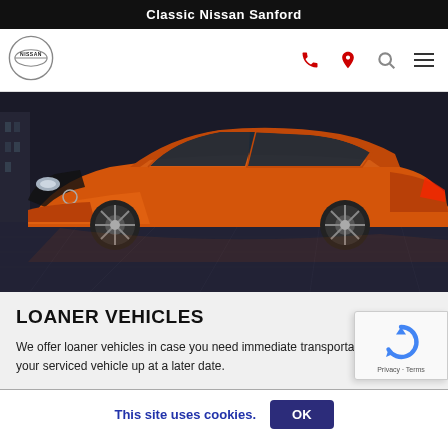Classic Nissan Sanford
[Figure (logo): Nissan circular logo with brand name]
[Figure (photo): Orange Nissan Sentra sedan photographed from front-right angle on a dark reflective floor in an indoor studio setting]
LOANER VEHICLES
We offer loaner vehicles in case you need immediate transportation or to pick your serviced vehicle up at a later date.
[Figure (other): reCAPTCHA verification widget with Privacy and Terms links]
This site uses cookies.